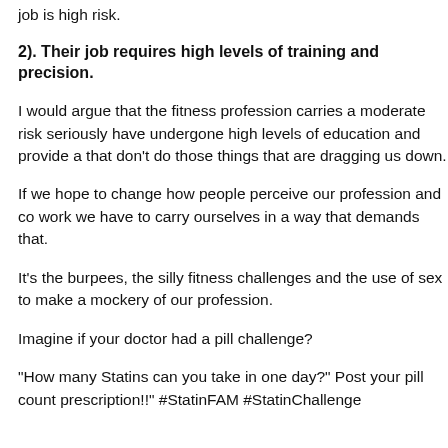job is high risk.
2). Their job requires high levels of training and precision.
I would argue that the fitness profession carries a moderate risk seriously have undergone high levels of education and provide a that don't do those things that are dragging us down.
If we hope to change how people perceive our profession and co work we have to carry ourselves in a way that demands that.
It's the burpees, the silly fitness challenges and the use of sex to make a mockery of our profession.
Imagine if your doctor had a pill challenge?
“How many Statins can you take in one day?” Post your pill count prescription!!” #StatinFAM #StatinChallenge